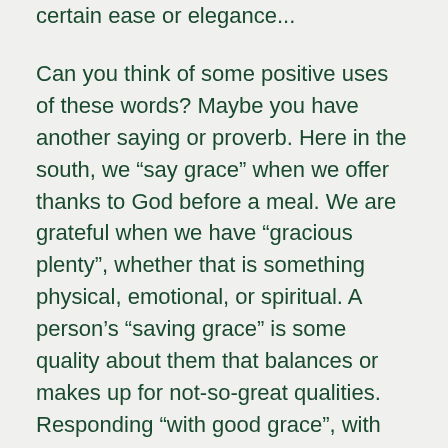certain ease or elegance...
Can you think of some positive uses of these words? Maybe you have another saying or proverb. Here in the south, we “say grace” when we offer thanks to God before a meal. We are grateful when we have “gracious plenty”, whether that is something physical, emotional, or spiritual. A person’s “saving grace” is some quality about them that balances or makes up for not-so-great qualities. Responding “with good grace”, with patience and politeness, is a good attribute to pursue! Whom of us have not appreciated a “grace period” for some overdue or forgotten responsibility or chore? “Goodness gracious” fills many a need for expressions of surprise, dismay, or awe... Sometimes there are just